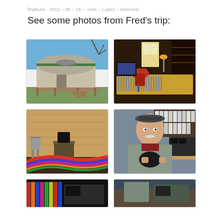finaltune · 2012 – 05 – 18 – –tom – Lopez – Interview
See some photos from Fred's trip:
[Figure (photo): Exterior of a yurt with wooden deck and stairs, blue sky in background]
[Figure (photo): Recording studio interior with mixing console, red office chair, and equipment]
[Figure (photo): Interior of wooden room with folding chairs, small table, and colorful hammock]
[Figure (photo): Older man in cap holding a black object, standing in front of shelves with binders]
[Figure (photo): Partial view of colorful items, bottom left photo cut off]
[Figure (photo): Partial view of a scene, bottom right photo cut off]